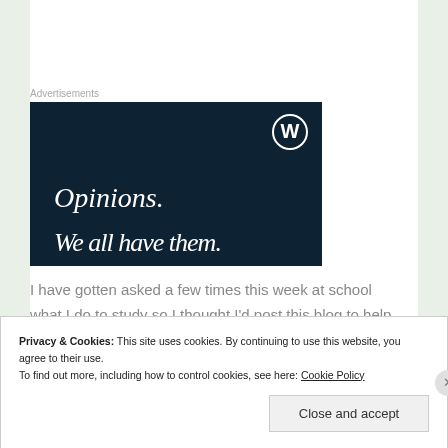Advertisements
[Figure (illustration): WordPress advertisement banner with dark navy background, WordPress logo (W in circle) top right, large italic serif text reading 'Opinions.' and below it partially visible text 'We all have them.']
I have gotten asked a few times this week at school what I do to study so I thought I'd post this blog to help anyone else who may be confused out there. I must say
Privacy & Cookies: This site uses cookies. By continuing to use this website, you agree to their use.
To find out more, including how to control cookies, see here: Cookie Policy

Close and accept